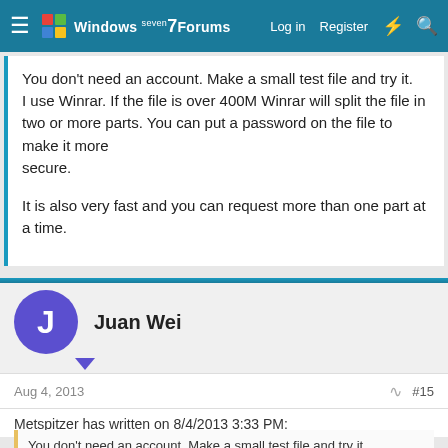Windows 7 Forums — Log in | Register
You don't need an account. Make a small test file and try it. I use Winrar. If the file is over 400M Winrar will split the file in two or more parts. You can put a password on the file to make it more secure.

It is also very fast and you can request more than one part at a time.
Juan Wei
Aug 4, 2013
#15
Metspitzer has written on 8/4/2013 3:33 PM:
You don't need an account. Make a small test file and try it. I use Winrar. If the file is over 400M Winrar will split the file in